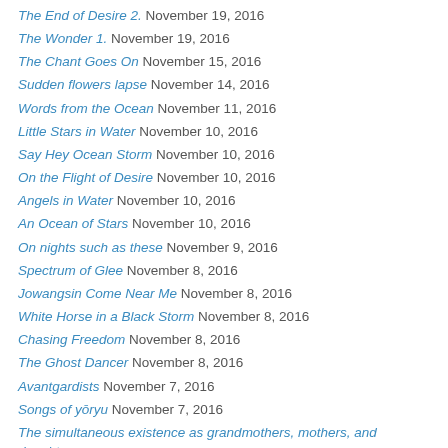The End of Desire 2. November 19, 2016
The Wonder 1. November 19, 2016
The Chant Goes On November 15, 2016
Sudden flowers lapse November 14, 2016
Words from the Ocean November 11, 2016
Little Stars in Water November 10, 2016
Say Hey Ocean Storm November 10, 2016
On the Flight of Desire November 10, 2016
Angels in Water November 10, 2016
An Ocean of Stars November 10, 2016
On nights such as these November 9, 2016
Spectrum of Glee November 8, 2016
Jowangsin Come Near Me November 8, 2016
White Horse in a Black Storm November 8, 2016
Chasing Freedom November 8, 2016
The Ghost Dancer November 8, 2016
Avantgardists November 7, 2016
Songs of yōryu November 7, 2016
The simultaneous existence as grandmothers, mothers, and daughters